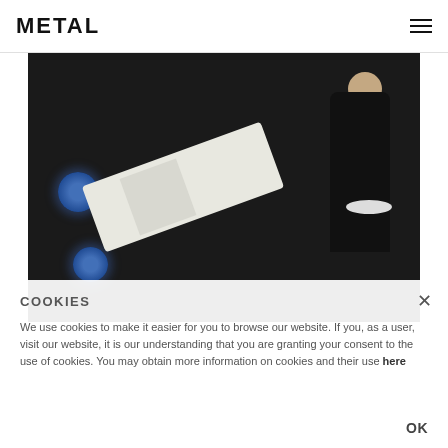METAL
[Figure (photo): Fashion editorial photo: a person in dark clothing doing a high kick against a black background, wearing a white suit/garment piece, with blue floral decorations on left side and white glove on right hand extending out of frame]
COOKIES
We use cookies to make it easier for you to browse our website. If you, as a user, visit our website, it is our understanding that you are granting your consent to the use of cookies. You may obtain more information on cookies and their use here
OK